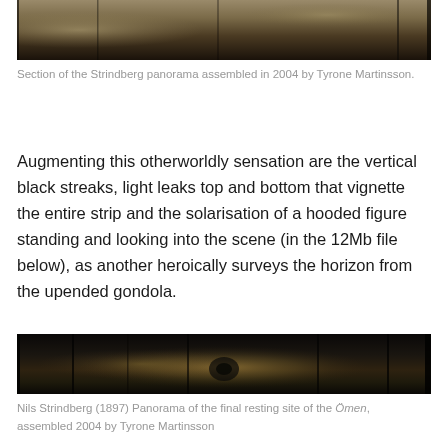[Figure (photo): Section of the Strindberg panorama, sepia-toned historical photograph showing figures and rocky terrain]
Section of the Strindberg panorama assembled in 2004 by Tyrone Martinsson.
Augmenting this otherworldly sensation are the vertical black streaks, light leaks top and bottom that vignette the entire strip and the solarisation of a hooded figure standing and looking into the scene (in the 12Mb file below), as another heroically surveys the horizon from the upended gondola.
[Figure (photo): Nils Strindberg (1897) Panorama of the final resting site of the Ömen, assembled 2004 by Tyrone Martinsson — dark panoramic strip with silhouetted scene and vertical streaks]
Nils Strindberg (1897) Panorama of the final resting site of the Ömen, assembled 2004 by Tyrone Martinsson